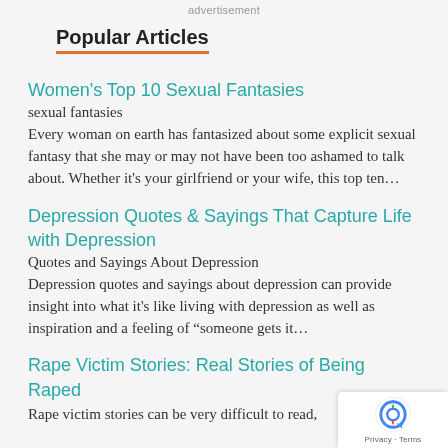advertisement
Popular Articles
Women's Top 10 Sexual Fantasies
sexual fantasies
Every woman on earth has fantasized about some explicit sexual fantasy that she may or may not have been too ashamed to talk about. Whether it's your girlfriend or your wife, this top ten…
Depression Quotes & Sayings That Capture Life with Depression
Quotes and Sayings About Depression
Depression quotes and sayings about depression can provide insight into what it's like living with depression as well as inspiration and a feeling of "someone gets it…
Rape Victim Stories: Real Stories of Being Raped
Rape victim stories can be very difficult to read,